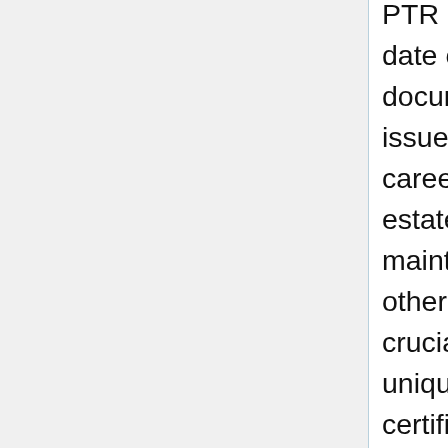PTR number, and APO receipt quantity, and the date of issuance and the duration of validity on the documents he/she indicators, makes use of or issues in connection with the observe of his/her career. Every registered and licensed actual estate service practitioner shall set up and maintain a principal place of enterprise and such other branch places of work as could also be crucial, and shall conspicuously display therein the unique and/or certified true copies of his/her certificate of registration as properly as the certificates of registration of all the actual estate service practitioners employed in such office. You could have the option of searching by identify, business and ID Number. These include how you can get your individual credit score experiences, an NYC Department of Consumer Affairs